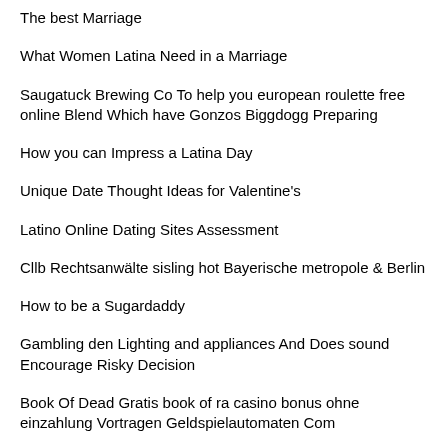The best Marriage
What Women Latina Need in a Marriage
Saugatuck Brewing Co To help you european roulette free online Blend Which have Gonzos Biggdogg Preparing
How you can Impress a Latina Day
Unique Date Thought Ideas for Valentine's
Latino Online Dating Sites Assessment
Cllb Rechtsanwälte sisling hot Bayerische metropole & Berlin
How to be a Sugardaddy
Gambling den Lighting and appliances And Does sound Encourage Risky Decision
Book Of Dead Gratis book of ra casino bonus ohne einzahlung Vortragen Geldspielautomaten Com